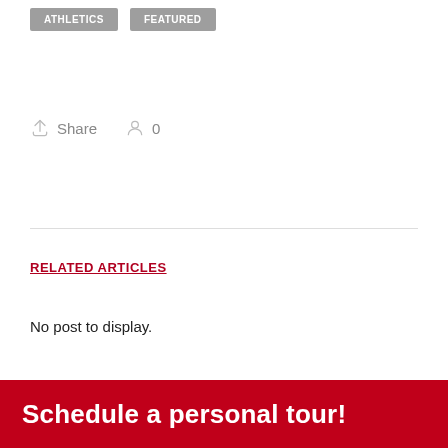ATHLETICS  FEATURED
Share  0
RELATED ARTICLES
No post to display.
Schedule a personal tour!